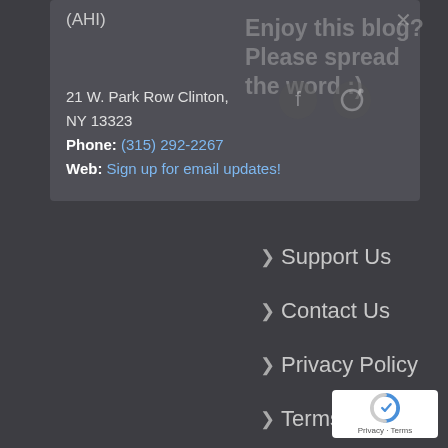(AHI)
Enjoy this blog? Please spread the word :)
21 W. Park Row Clinton, NY 13323
Phone: (315) 292-2267
Web: Sign up for email updates!
> Support Us
> Contact Us
> Privacy Policy
> Terms of Use
[Figure (logo): reCAPTCHA badge with Google reCAPTCHA logo and Privacy - Terms text]